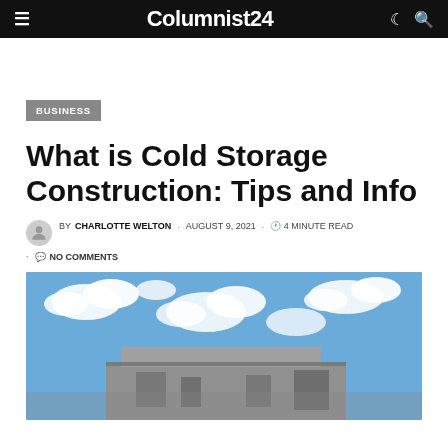Columnist24
BUSINESS
What is Cold Storage Construction: Tips and Info
BY CHARLOTTE WELTON · AUGUST 9, 2021 · 4 MINUTE READ · NO COMMENTS
[Figure (photo): Exterior of a large commercial/industrial building against a blue sky with white clouds]